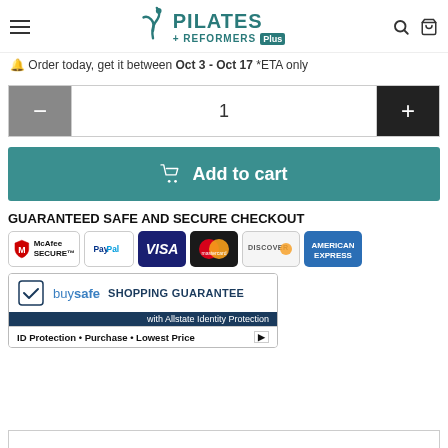Pilates Reformers Plus
🔔 Order today, get it between Oct 3 - Oct 17 *ETA only
1 (quantity selector)
Add to cart
GUARANTEED SAFE AND SECURE CHECKOUT
[Figure (logo): Payment badges: McAfee Secure, PayPal, Visa, Mastercard, Discover, American Express]
[Figure (logo): BuySafe Shopping Guarantee with Allstate Identity Protection badge. ID Protection • Purchase • Lowest Price]